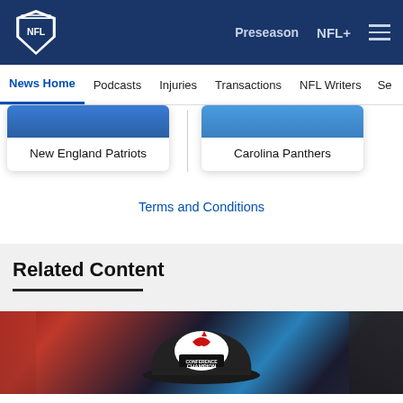NFL navigation bar with logo, Preseason, NFL+, and hamburger menu
News Home | Podcasts | Injuries | Transactions | NFL Writers | Se...
New England Patriots
Carolina Panthers
Terms and Conditions
Related Content
[Figure (photo): Close-up photo of person wearing a black Arizona Cardinals Conference Champions hat, with blurred background showing red and blue colors. Another person visible on right.]